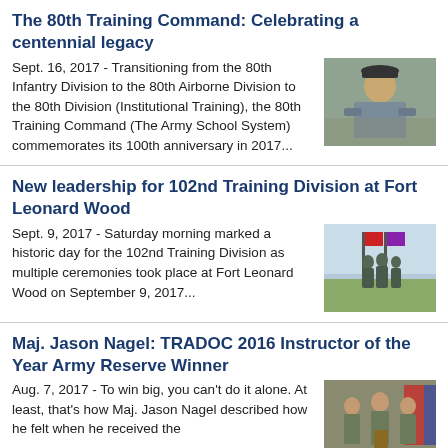The 80th Training Command: Celebrating a centennial legacy
Sept. 16, 2017 - Transitioning from the 80th Infantry Division to the 80th Airborne Division to the 80th Division (Institutional Training), the 80th Training Command (The Army School System) commemorates its 100th anniversary in 2017...
[Figure (photo): Elderly man in military cap sitting at a table with equipment]
New leadership for 102nd Training Division at Fort Leonard Wood
Sept. 9, 2017 - Saturday morning marked a historic day for the 102nd Training Division as multiple ceremonies took place at Fort Leonard Wood on September 9, 2017...
[Figure (photo): Military ceremony with soldiers holding flags at Fort Leonard Wood]
Maj. Jason Nagel: TRADOC 2016 Instructor of the Year Army Reserve Winner
Aug. 7, 2017 - To win big, you can't do it alone. At least, that's how Maj. Jason Nagel described how he felt when he received the
[Figure (photo): Three soldiers in camouflage uniforms at an award ceremony]